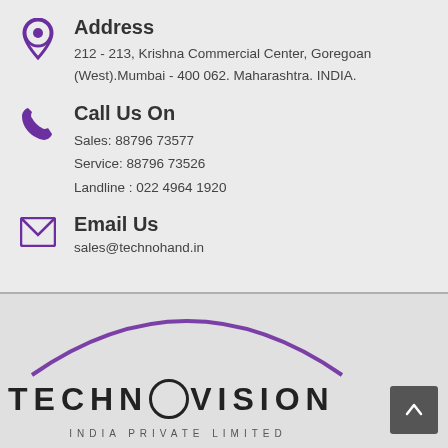Address
212 - 213, Krishna Commercial Center, Goregoan (West).Mumbai - 400 062. Maharashtra. INDIA.
Call Us On
Sales: 88796 73577
Service: 88796 73526
Landline : 022 4964 1920
Email Us
sales@technohand.in
[Figure (logo): Technovision India Private Limited logo with purple arc above text]